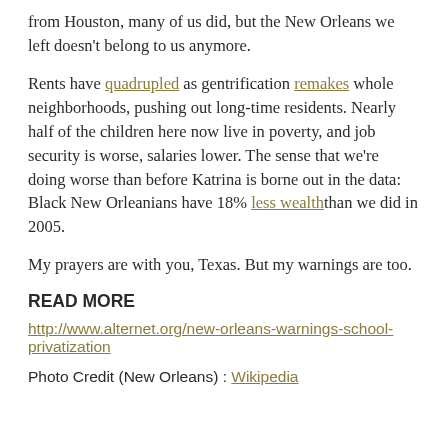from Houston, many of us did, but the New Orleans we left doesn't belong to us anymore.
Rents have quadrupled as gentrification remakes whole neighborhoods, pushing out long-time residents. Nearly half of the children here now live in poverty, and job security is worse, salaries lower. The sense that we're doing worse than before Katrina is borne out in the data: Black New Orleanians have 18% less wealth than we did in 2005.
My prayers are with you, Texas. But my warnings are too.
READ MORE
http://www.alternet.org/new-orleans-warnings-school-privatization
Photo Credit (New Orleans) : Wikipedia